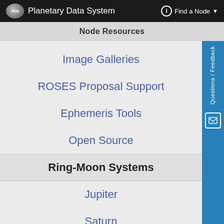PDS Planetary Data System — Find a Node
Node Resources
Image Galleries
ROSES Proposal Support
Ephemeris Tools
Open Source
Ring-Moon Systems
Jupiter
Saturn
Uranus